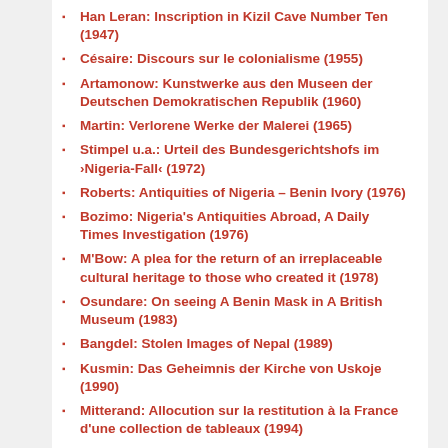Han Leran: Inscription in Kizil Cave Number Ten (1947)
Césaire: Discours sur le colonialisme (1955)
Artamonow: Kunstwerke aus den Museen der Deutschen Demokratischen Republik (1960)
Martin: Verlorene Werke der Malerei (1965)
Stimpel u.a.: Urteil des Bundesgerichtshofs im ›Nigeria-Fall‹ (1972)
Roberts: Antiquities of Nigeria – Benin Ivory (1976)
Bozimo: Nigeria's Antiquities Abroad, A Daily Times Investigation (1976)
M'Bow: A plea for the return of an irreplaceable cultural heritage to those who created it (1978)
Osundare: On seeing A Benin Mask in A British Museum (1983)
Bangdel: Stolen Images of Nepal (1989)
Kusmin: Das Geheimnis der Kirche von Uskoje (1990)
Mitterand: Allocution sur la restitution à la France d'une collection de tableaux (1994)
Oba Erediauwa: Adress at the Commencement of…